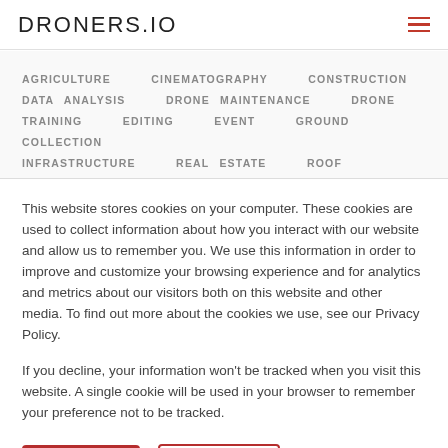DRONERS.IO
AGRICULTURE   CINEMATOGRAPHY   CONSTRUCTION   DATA ANALYSIS   DRONE MAINTENANCE   DRONE TRAINING   EDITING   EVENT   GROUND COLLECTION   INFRASTRUCTURE   REAL ESTATE   ROOF INSPECTION   SURVEYING & MAPPING   WEDDING   OTHER
This website stores cookies on your computer. These cookies are used to collect information about how you interact with our website and allow us to remember you. We use this information in order to improve and customize your browsing experience and for analytics and metrics about our visitors both on this website and other media. To find out more about the cookies we use, see our Privacy Policy.
If you decline, your information won't be tracked when you visit this website. A single cookie will be used in your browser to remember your preference not to be tracked.